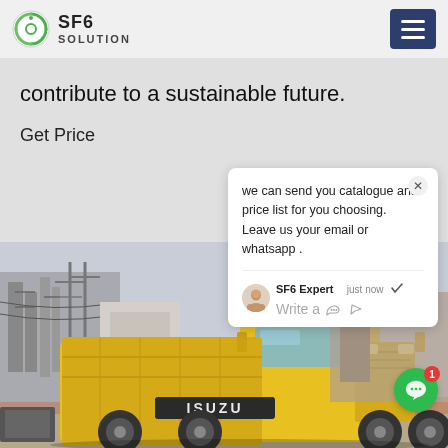SF6 SOLUTION
contribute to a sustainable future.
Get Price
we can send you catalogue and price list for you choosing.
Leave us your email or whatsapp .
SF6 Expert   just now
Write a
[Figure (photo): Yellow Isuzu truck at an electrical substation with high-voltage infrastructure visible in the background]